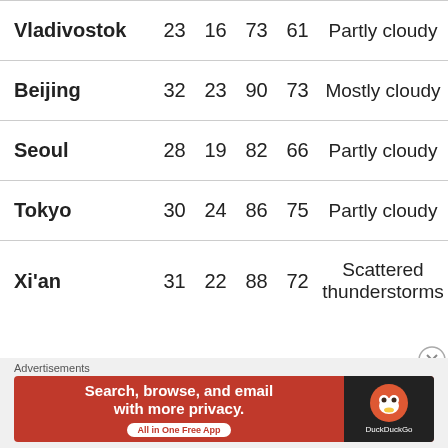| City | Hi°C | Lo°C | Hi°F | Lo°F | Conditions |
| --- | --- | --- | --- | --- | --- |
| Vladivostok | 23 | 16 | 73 | 61 | Partly cloudy |
| Beijing | 32 | 23 | 90 | 73 | Mostly cloudy |
| Seoul | 28 | 19 | 82 | 66 | Partly cloudy |
| Tokyo | 30 | 24 | 86 | 75 | Partly cloudy |
| Xi'an | 31 | 22 | 88 | 72 | Scattered thunderstorms |
Advertisements
[Figure (other): DuckDuckGo advertisement banner: 'Search, browse, and email with more privacy. All in One Free App' with DuckDuckGo duck logo on dark background.]